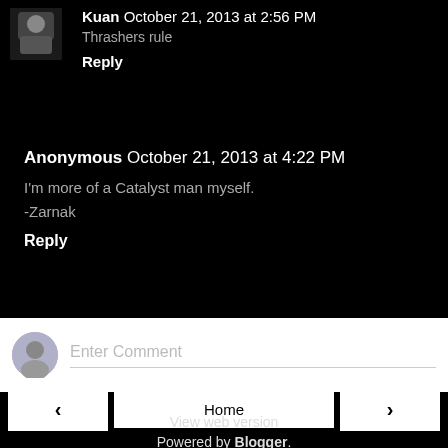Kuan October 21, 2013 at 2:56 PM
Thrashers rule
Reply
Anonymous October 21, 2013 at 4:22 PM
I'm more of a Catalyst man myself.
-Zarnak
Reply
Enter Comment
Home
View web version
Powered by Blogger.